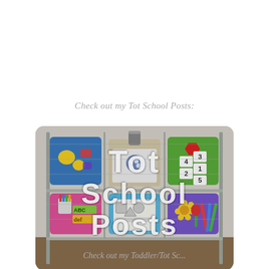Check out my Tot School Posts:
[Figure (photo): A metal wire shelf unit holding colorful plastic trays with educational manipulatives and activities for toddlers. A blue tray with yellow shapes and scissors on the top left, a beige tray with an activity board and a tin can in the center, a green tray with numbered cards and a red shape on the top right, a pink tray with a cup of crayons and felt letters on the bottom left, a light blue tray with shape sorting activities in the center bottom, and a purple tray with flowers and colored pencils on the bottom right. White text overlay reads 'Tot School Posts'.]
Check out my Toddler/Tot Sc...